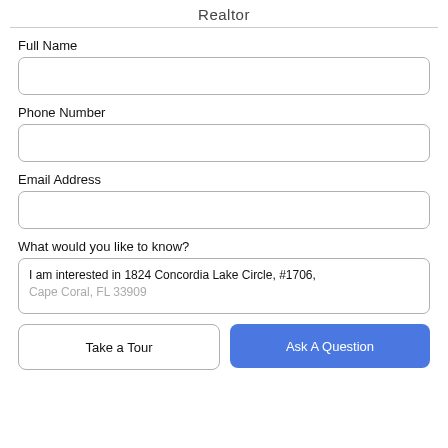Realtor
Full Name
Phone Number
Email Address
What would you like to know?
I am interested in 1824 Concordia Lake Circle, #1706, Cape Coral, FL 33909
Take a Tour
Ask A Question